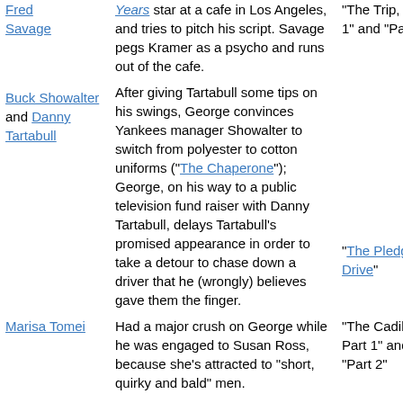| Person | Description | Episode |
| --- | --- | --- |
| Fred Savage | Years star at a cafe in Los Angeles, and tries to pitch his script. Savage pegs Kramer as a psycho and runs out of the cafe. | "The Trip, Part 1" and "Part 2" |
| Buck Showalter and Danny Tartabull | After giving Tartabull some tips on his swings, George convinces Yankees manager Showalter to switch from polyester to cotton uniforms ("The Chaperone"); George, on his way to a public television fund raiser with Danny Tartabull, delays Tartabull's promised appearance in order to take a detour to chase down a driver that he (wrongly) believes gave them the finger. | "The Pledge Drive" |
| Marisa Tomei | Had a major crush on George while he was engaged to Susan Ross, because she's attracted to "short, quirky and bald" men. | "The Cadillac, Part 1" and "Part 2" |
| Mel Tormé | The "Velvet Fog" himself sings at an AMCA charity fundraiser, when Kramer is mistaken for a mentally challenged | "The Jimmy" |